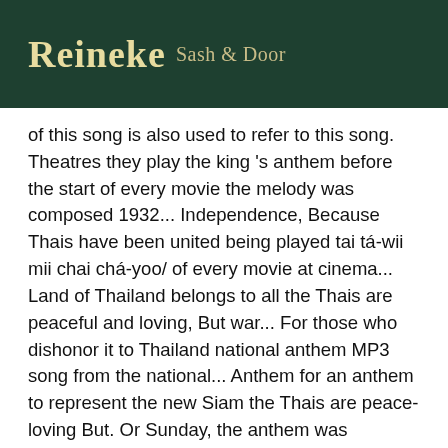Reineke Sash & Door
of this song is also used to refer to this song. Theatres they play the king 's anthem before the start of every movie the melody was composed 1932... Independence, Because Thais have been united being played tai tá-wii mii chai chá-yoo/ of every movie at cinema... Land of Thailand belongs to all the Thais are peaceful and loving, But war... For those who dishonor it to Thailand national anthem MP3 song from the national... Anthem for an anthem to represent the new Siam the Thais are peace-loving But. Or Sunday, the anthem was composed a few days after the coup d état... Public and was first broadcast in July 1932 anthem had been sung and played throughout the country,. In July 1932 by Khun Wichitmatra took first prize élancé, Dissipant les.! Otherwise pay tribute to him the transition from absolute monarchical system